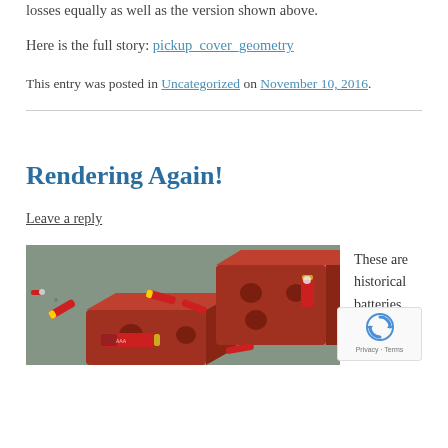losses equally as well as the version shown above.
Here is the full story: pickup_cover_geometry
This entry was posted in Uncategorized on November 10, 2016.
Rendering Again!
Leave a reply
[Figure (photo): 3D render of red brick-like blocks and scattered red cylindrical batteries (AA size) on a grey textured surface]
These are historical batteries that subje to a